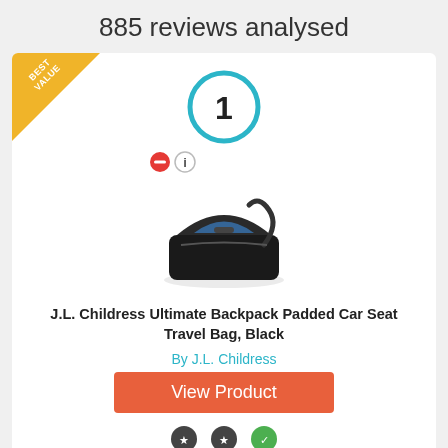885 reviews analysed
[Figure (infographic): Product card with number 1 rank badge (blue circle), Best Value banner (gold triangle top-left corner), product image of J.L. Childress car seat travel bag in black, brand link 'By J.L. Childress', and orange 'View Product' button]
J.L. Childress Ultimate Backpack Padded Car Seat Travel Bag, Black
By J.L. Childress
View Product